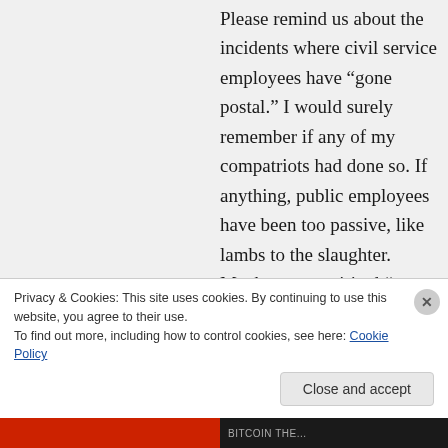Please remind us about the incidents where civil service employees have “gone postal.” I would surely remember if any of my compatriots had done so. If anything, public employees have been too passive, like lambs to the slaughter. Maybe some spirited “save our jobs” rallies on the capitol steps would have drawn attention to the bloodbath – the loss of public jobs and services, in favor of privatization resulting in more expense and less service.
Privacy & Cookies: This site uses cookies. By continuing to use this website, you agree to their use. To find out more, including how to control cookies, see here: Cookie Policy